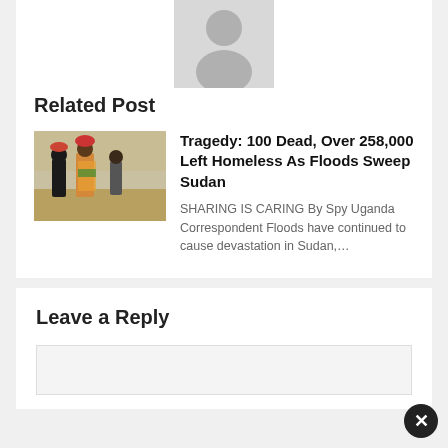[Figure (photo): Gray silhouette/avatar icon of a person, partially visible at top of card]
Related Post
[Figure (photo): Photo of people walking through flood waters carrying belongings on their heads, sandy/dusty environment, Sudan floods]
Tragedy: 100 Dead, Over 258,000 Left Homeless As Floods Sweep Sudan
SHARING IS CARING By Spy Uganda Correspondent Floods have continued to cause devastation in Sudan,…
Leave a Reply